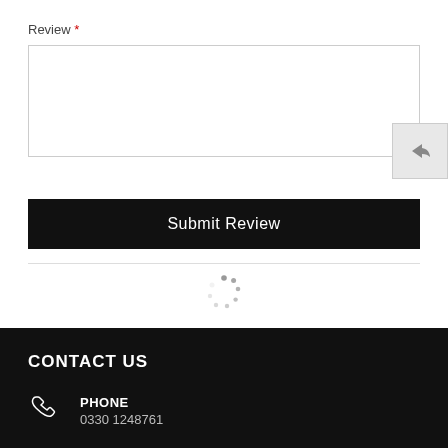Review *
[Figure (screenshot): A text area input field for writing a review, with a reply/undo arrow icon overlapping the bottom-right corner]
Submit Review
[Figure (other): Loading spinner dots arranged in a circle]
CONTACT US
PHONE
0330 1248761